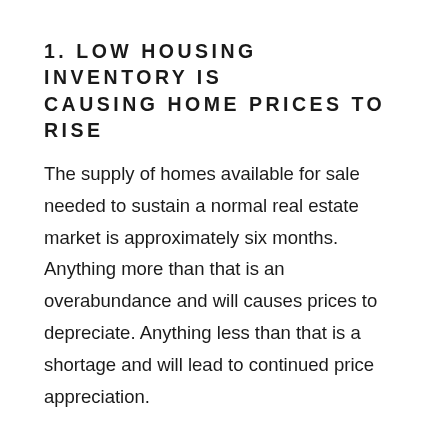1. LOW HOUSING INVENTORY IS CAUSING HOME PRICES TO RISE
The supply of homes available for sale needed to sustain a normal real estate market is approximately six months. Anything more than that is an overabundance and will causes prices to depreciate. Anything less than that is a shortage and will lead to continued price appreciation.